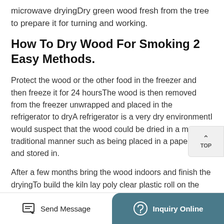microwave dryingDry green wood fresh from the tree to prepare it for turning and working.
How To Dry Wood For Smoking 2 Easy Methods.
Protect the wood or the other food in the freezer and then freeze it for 24 hoursThe wood is then removed from the freezer unwrapped and placed in the refrigerator to dryA refrigerator is a very dry environmentI would suspect that the wood could be dried in a more traditional manner such as being placed in a paper bag and stored in.
After a few months bring the wood indoors and finish the dryingTo build the kiln lay poly clear plastic roll on the ground and then build a frame
Send Message | Inquiry Online